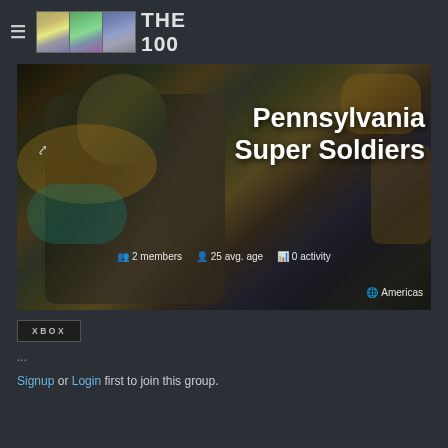≡  THE 100
[Figure (screenshot): Hero banner image showing a futuristic armored soldier (Halo/sci-fi style) in dark olive, gold, and teal tones. Overlaid text reads 'Pennsylvania Super Soldiers' with stats: 2 members, 25 avg. age, 0 activity, Americas]
Pennsylvania Super Soldiers
2 members   25 avg. age   0 activity
Americas
XBOX
...
Signup or Login first to join this group.